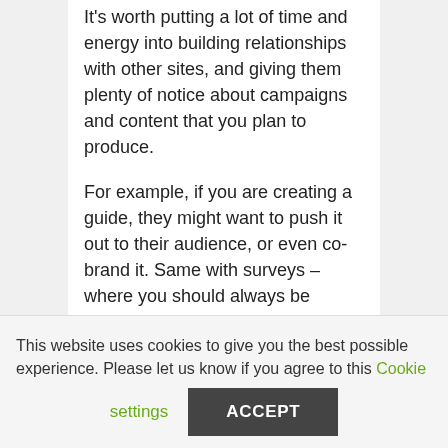It's worth putting a lot of time and energy into building relationships with other sites, and giving them plenty of notice about campaigns and content that you plan to produce.
For example, if you are creating a guide, they might want to push it out to their audience, or even co-brand it. Same with surveys – where you should always be aiming to get headlines and coverage. This is classic PR stuff, of course. But now you have the
This website uses cookies to give you the best possible experience. Please let us know if you agree to this Cookie settings ACCEPT